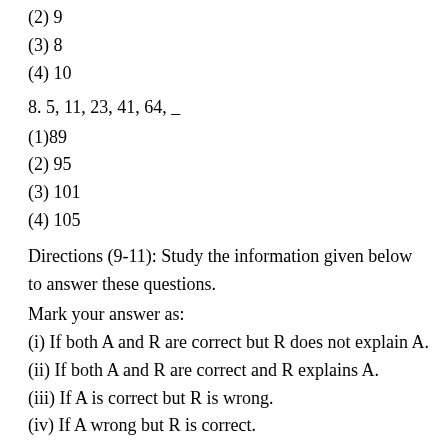(2) 9
(3) 8
(4) 10
8. 5, 11, 23, 41, 64, _
(1)89
(2) 95
(3) 101
(4) 105
Directions (9-11): Study the information given below to answer these questions.
Mark your answer as:
(i) If both A and R are correct but R does not explain A.
(ii) If both A and R are correct and R explains A.
(iii) If A is correct but R is wrong.
(iv) If A wrong but R is correct.